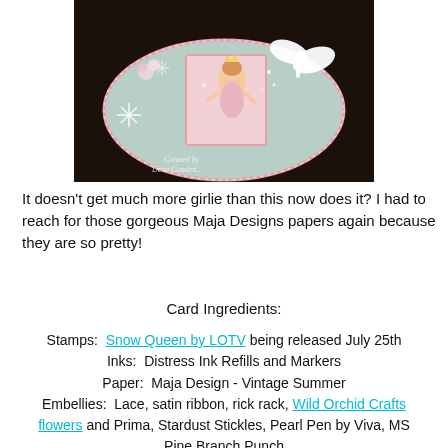[Figure (photo): A handmade craft card featuring a cute girl illustration (Snow Queen), decorated with lace, ribbon bow, snowflake embellishments, flowers, on a circular shaped card with pink and teal/blue patterned paper. Text at bottom reads 'Created by Dena Conden...']
It doesn't get much more girlie than this now does it?  I had to reach for those gorgeous Maja Designs papers again because they are so pretty!
Card Ingredients:
Stamps:  Snow Queen by LOTV being released July 25th
Inks:  Distress Ink Refills and Markers
Paper:  Maja Design - Vintage Summer
Embellies:  Lace, satin ribbon, rick rack, Wild Orchid Crafts flowers and Prima, Stardust Stickles, Pearl Pen by Viva, MS Pine Branch Punch